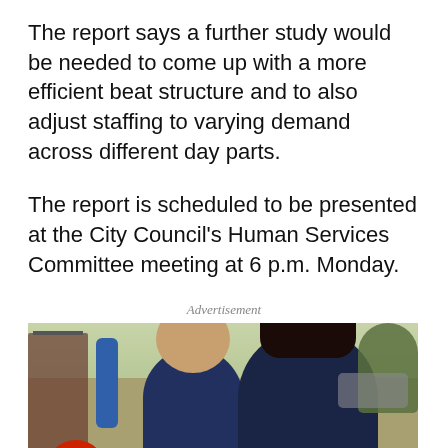The report says a further study would be needed to come up with a more efficient beat structure and to also adjust staffing to varying demand across different day parts.
The report is scheduled to be presented at the City Council's Human Services Committee meeting at 6 p.m. Monday.
Advertisement
[Figure (photo): Two women smiling outdoors on a street with clothing racks and trees in the background, with a red notification bell icon overlay in the lower left.]